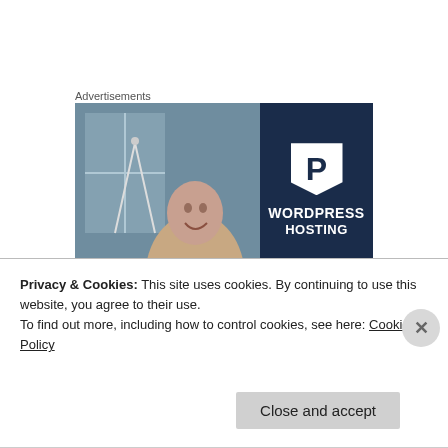Advertisements
[Figure (photo): Advertisement banner for WordPress Hosting. Left half shows a smiling woman in a cafe/shop setting. Right half has a dark navy background with a white P-shaped icon and text 'WORDPRESS HOSTING'.]
It is also very important that you understand and always, always remember, there is no perfect woman. There is no perfect person. There never was and there will never will
Privacy & Cookies: This site uses cookies. By continuing to use this website, you agree to their use.
To find out more, including how to control cookies, see here: Cookie Policy